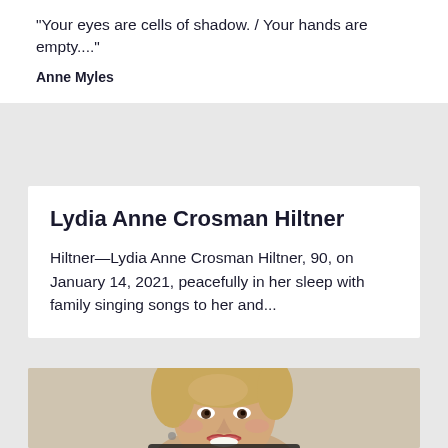"Your eyes are cells of shadow. / Your hands are empty...."
Anne Myles
Lydia Anne Crosman Hiltner
Hiltner—Lydia Anne Crosman Hiltner, 90, on January 14, 2021, peacefully in her sleep with family singing songs to her and...
[Figure (photo): Portrait photo of a smiling middle-aged woman with blonde hair, wearing a dark top, against a beige/tan background.]